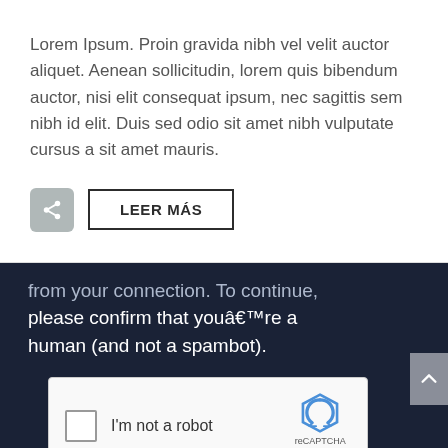Lorem Ipsum. Proin gravida nibh vel velit auctor aliquet. Aenean sollicitudin, lorem quis bibendum auctor, nisi elit consequat ipsum, nec sagittis sem nibh id elit. Duis sed odio sit amet nibh vulputate cursus a sit amet mauris.
[Figure (other): Share button (grey rounded square with share icon) and LEER MÁS button (white with dark border and bold text)]
from your connection. To continue, please confirm that youâ€™re a human (and not a spambot).
[Figure (other): reCAPTCHA widget: checkbox labeled I'm not a robot with reCAPTCHA logo, Privacy and Terms links]